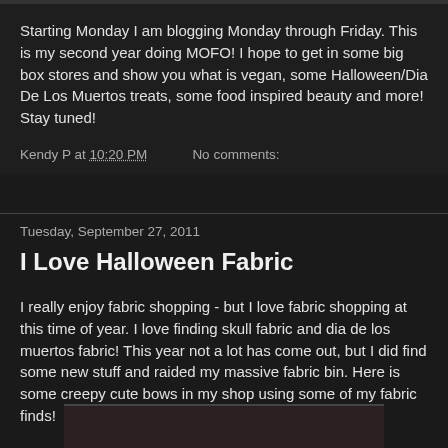Starting Monday I am blogging Monday through Friday. This is my second year doing MOFO! I hope to get in some big box stores and show you what is vegan, some Halloween/Dia De Los Muertos treats, some food inspired beauty and more! Stay tuned!
Kendy P at 10:20 PM    No comments:
Tuesday, September 27, 2011
I Love Halloween Fabric
I really enjoy fabric shopping - but I love fabric shopping at this time of year. I love finding skull fabric and dia de los muertos fabric! This year not a lot has come out, but I did find some new stuff and raided my massive fabric bin. Here is some creepy cute bows in my shop using some of my fabric finds!
[Figure (photo): Partial view of a photo showing fabric/bows, cropped at bottom of page]